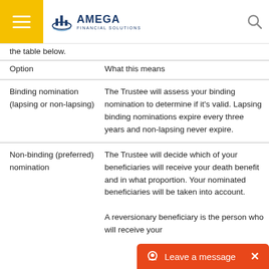Amega Financial Solutions
the table below.
| Option | What this means |
| --- | --- |
| Binding nomination (lapsing or non-lapsing) | The Trustee will assess your binding nomination to determine if it’s valid. Lapsing binding nominations expire every three years and non-lapsing never expire. |
| Non-binding (preferred) nomination | The Trustee will decide which of your beneficiaries will receive your death benefit and in what proportion. Your nominated beneficiaries will be taken into account. |
|  | A reversionary beneficiary is the person who will receive your |